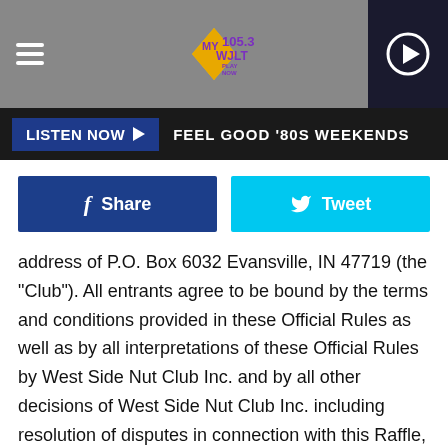[Figure (screenshot): MY105.3 WJLT radio station header logo with hamburger menu and play button]
LISTEN NOW ▶  FEEL GOOD '80S WEEKENDS
[Figure (infographic): Facebook Share button and Twitter Tweet button]
address of P.O. Box 6032 Evansville, IN 47719 (the "Club"). All entrants agree to be bound by the terms and conditions provided in these Official Rules as well as by all interpretations of these Official Rules by West Side Nut Club Inc. and by all other decisions of West Side Nut Club Inc. including resolution of disputes in connection with this Raffle, which are final and binding in all matters relating to the Raffle. The Raffle is subject to all applicable Indiana laws and regulations, specifically, to the provisions of Indiana Code governing charity gaming, found at Indiana Code section 4-32-2, as well as to oversight by the Indiana Gaming...